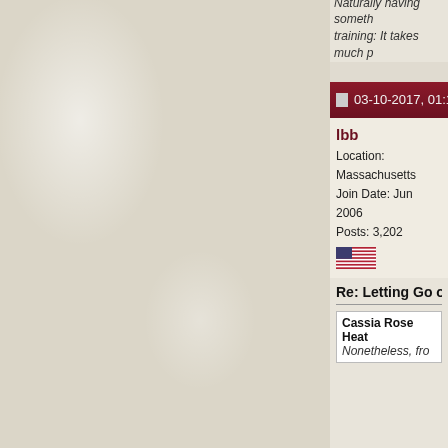emotionally, as described. is a challenge, especially way or another.

A wise friend suggested that when you find something unpleasant in a person, look at the aspect of yourself that. It is possible to overcome obstacles

That being said, I do believe people should be recognised for their efforts and be treated fairly. As far as that goes, no problem if we then treat others fairly in turn. I've seen a few people take issue with their teacher and move their dojo to somewhere w
Naturally having something training: It takes much p
03-10-2017, 01:13 PM
lbb
Location: Massachusetts
Join Date: Jun 2006
Posts: 3,202
Re: Letting Go of the E
Cassia Rose Heat
Nonetheless, fro